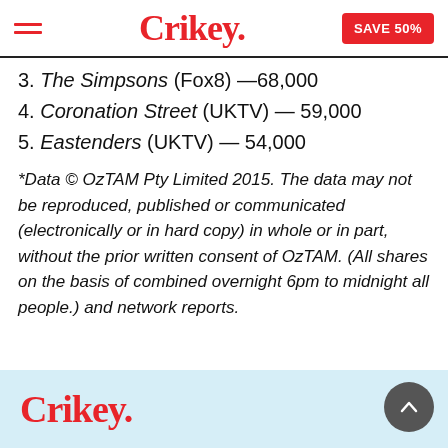Crikey. SAVE 50%
3. The Simpsons (Fox8) —68,000
4. Coronation Street (UKTV) — 59,000
5. Eastenders (UKTV) — 54,000
*Data © OzTAM Pty Limited 2015. The data may not be reproduced, published or communicated (electronically or in hard copy) in whole or in part, without the prior written consent of OzTAM. (All shares on the basis of combined overnight 6pm to midnight all people.) and network reports.
[Figure (logo): Crikey logo in red on light blue background ad banner at bottom of page]